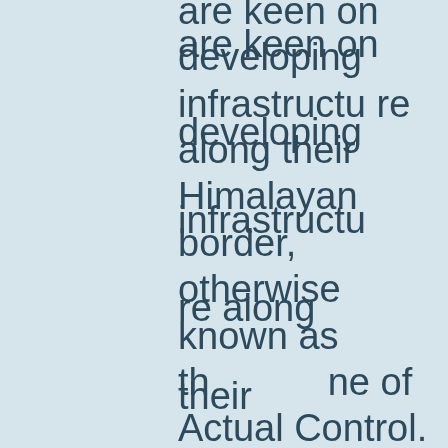are keen on developing infrastructure along their Himalayan border, otherwise known as the Line of Actual Control. They have